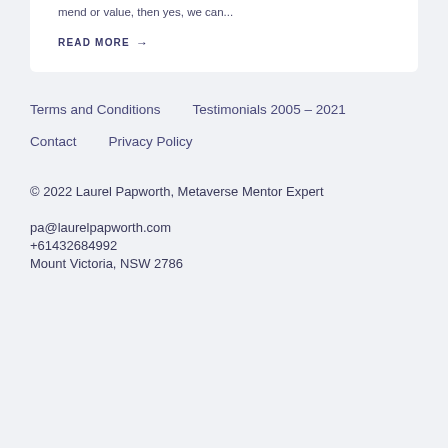mend or value, then yes, we can...
READ MORE →
Terms and Conditions
Testimonials 2005 – 2021
Contact
Privacy Policy
© 2022 Laurel Papworth, Metaverse Mentor Expert
pa@laurelpapworth.com
+61432684992
Mount Victoria, NSW 2786